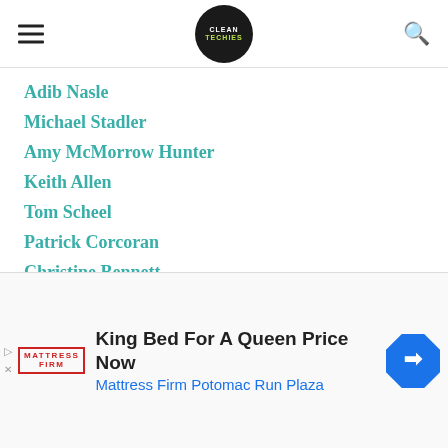CleanTechies
Adib Nasle
Michael Stadler
Amy McMorrow Hunter
Keith Allen
Tom Scheel
Patrick Corcoran
Christine Bennett
Mike Casey
Henk Rogers
...aubel
[Figure (infographic): Advertisement: King Bed For A Queen Price Now — Mattress Firm Potomac Run Plaza, with Mattress Firm logo and navigation arrow icon]